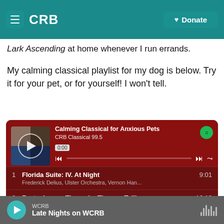CRB | Donate
Lark Ascending at home whenever I run errands.
My calming classical playlist for my dog is below. Try it for your pet, or for yourself! I won't tell.
[Figure (screenshot): Spotify embedded playlist player titled 'Calming Classical for Anxious Pets' by CRB Classical 99.5, showing tracks: 1. Florida Suite: IV. At Night - Frederick Delius, Ulster Orchestra, Vernon Han... 9:01; 2. Fantasia on a Theme by Thomas Tallis - Ralph Vaughan Williams, Bryden Thomson, Lo... 16:13; 3. Quadros de uma Exposição: II. Vecchio Castello - Modest Mussorgsky, Jorge Caballero 4:22]
WCRB | Late Nights on WCRB